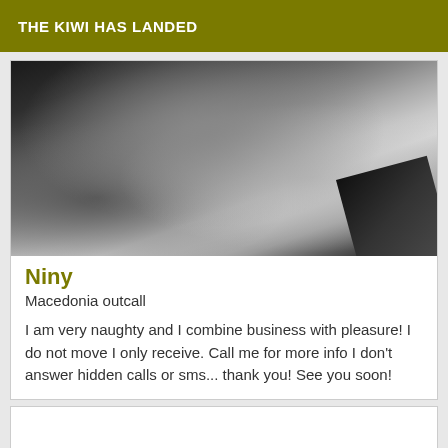THE KIWI HAS LANDED
[Figure (photo): Black and white close-up photo of a woman's face and shoulder, with a dark strap visible]
Niny
Macedonia outcall
I am very naughty and I combine business with pleasure! I do not move I only receive. Call me for more info I don't answer hidden calls or sms... thank you! See you soon!